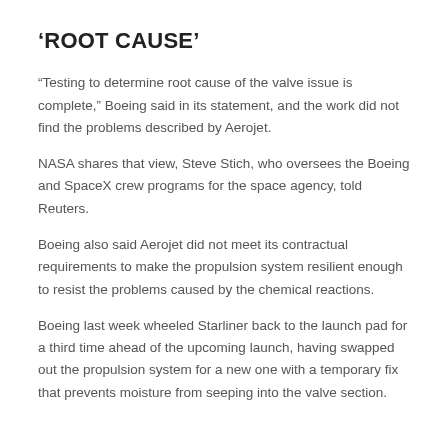‘ROOT CAUSE’
“Testing to determine root cause of the valve issue is complete,” Boeing said in its statement, and the work did not find the problems described by Aerojet.
NASA shares that view, Steve Stich, who oversees the Boeing and SpaceX crew programs for the space agency, told Reuters.
Boeing also said Aerojet did not meet its contractual requirements to make the propulsion system resilient enough to resist the problems caused by the chemical reactions.
Boeing last week wheeled Starliner back to the launch pad for a third time ahead of the upcoming launch, having swapped out the propulsion system for a new one with a temporary fix that prevents moisture from seeping into the valve section.